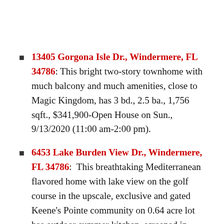13405 Gorgona Isle Dr., Windermere, FL 34786: This bright two-story townhome with much balcony and much amenities, close to Magic Kingdom, has 3 bd., 2.5 ba., 1,756 sqft., $341,900-Open House on Sun., 9/13/2020 (11:00 am-2:00 pm).
6453 Lake Burden View Dr., Windermere, FL 34786: This breathtaking Mediterranean flavored home with lake view on the golf course in the upscale, exclusive and gated Keene's Pointe community on 0.64 acre lot has outdoor summer kitchen, screened in pool, 6 bd., 7.5 ba., 4,936 sqft., $1,990,000-Open House on Sat., 9/12/2020 (noon-4:30 pm).
5308 Tildens Grove Blvd., Windermere, FL 34786: This gorgeous two-story custom built home sitting on a large conservation/pond 0.6 acre site in the guard gated...